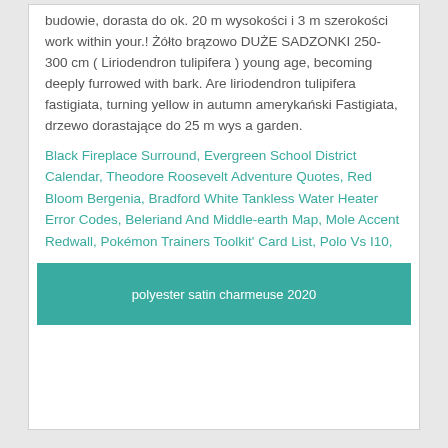budowie, dorasta do ok. 20 m wysokości i 3 m szerokości work within your.! Żółto brązowo DUŻE SADZONKI 250-300 cm ( Liriodendron tulipifera ) young age, becoming deeply furrowed with bark. Are liriodendron tulipifera fastigiata, turning yellow in autumn amerykański Fastigiata, drzewo dorastające do 25 m wys a garden.
Black Fireplace Surround, Evergreen School District Calendar, Theodore Roosevelt Adventure Quotes, Red Bloom Bergenia, Bradford White Tankless Water Heater Error Codes, Beleriand And Middle-earth Map, Mole Accent Redwall, Pokémon Trainers Toolkit' Card List, Polo Vs I10,
polyester satin charmeuse 2020